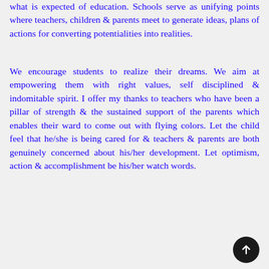what is expected of education. Schools serve as unifying points where teachers, children & parents meet to generate ideas, plans of actions for converting potentialities into realities.
We encourage students to realize their dreams. We aim at empowering them with right values, self disciplined & indomitable spirit. I offer my thanks to teachers who have been a pillar of strength & the sustained support of the parents which enables their ward to come out with flying colors. Let the child feel that he/she is being cared for & teachers & parents are both genuinely concerned about his/her development. Let optimism, action & accomplishment be his/her watch words.